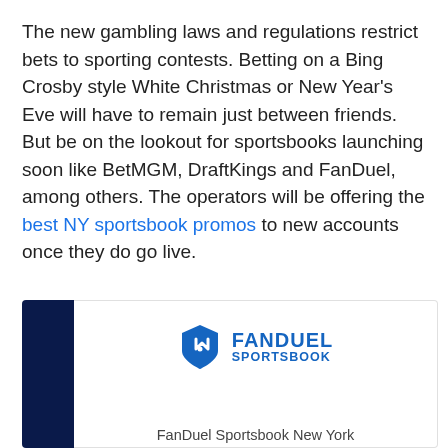The new gambling laws and regulations restrict bets to sporting contests. Betting on a Bing Crosby style White Christmas or New Year's Eve will have to remain just between friends. But be on the lookout for sportsbooks launching soon like BetMGM, DraftKings and FanDuel, among others. The operators will be offering the best NY sportsbook promos to new accounts once they do go live.
[Figure (logo): FanDuel Sportsbook logo with blue shield icon and FANDUEL SPORTSBOOK text]
FanDuel Sportsbook New York
Bet $5 Get $150, Win or Lose